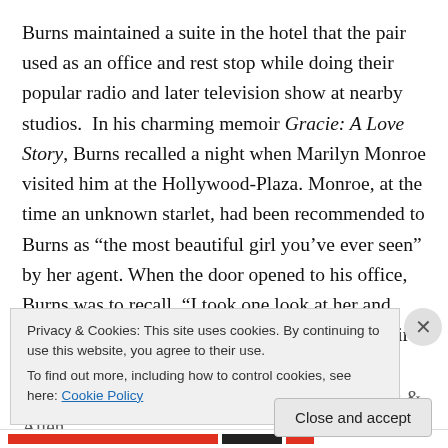Burns maintained a suite in the hotel that the pair used as an office and rest stop while doing their popular radio and later television show at nearby studios.  In his charming memoir Gracie: A Love Story, Burns recalled a night when Marilyn Monroe visited him at the Hollywood-Plaza. Monroe, at the time an unknown starlet, had been recommended to Burns as “the most beautiful girl you’ve ever seen” by her agent. When the door opened to his office, Burns was to recall, “I took one look at her and knew an historic event had taken place: for the first time in history an agent had been telling the truth.” Burns & Allen
Privacy & Cookies: This site uses cookies. By continuing to use this website, you agree to their use.
To find out more, including how to control cookies, see here: Cookie Policy
Close and accept